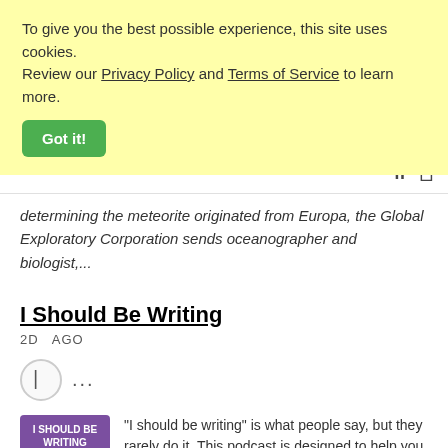To give you the best possible experience, this site uses cookies. Review our Privacy Policy and Terms of Service to learn more.
Got it!
determining the meteorite originated from Europa, the Global Exploratory Corporation sends oceanographer and biologist,...
I Should Be Writing
2D  AGO
[Figure (illustration): Podcast thumbnail for 'I Should Be Writing' showing text on purple background with illustrated figure]
"I should be writing" is what people say, but they rarely do it. This podcast is designed to help you